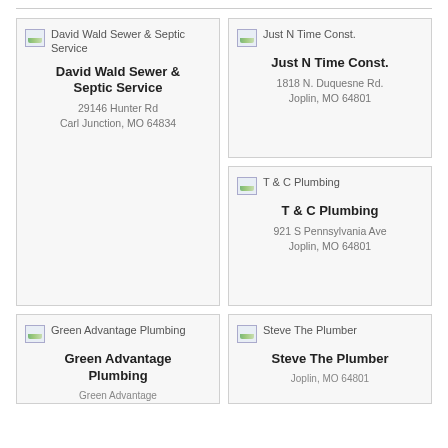[Figure (other): Business listing card: David Wald Sewer & Septic Service, 29146 Hunter Rd, Carl Junction, MO 64834]
[Figure (other): Business listing card: Just N Time Const., 1818 N. Duquesne Rd., Joplin, MO 64801]
[Figure (other): Business listing card: T & C Plumbing, 921 S Pennsylvania Ave, Joplin, MO 64801]
[Figure (other): Business listing card: Green Advantage Plumbing (partially visible)]
[Figure (other): Business listing card: Steve The Plumber, Joplin, MO 64801 (partially visible)]